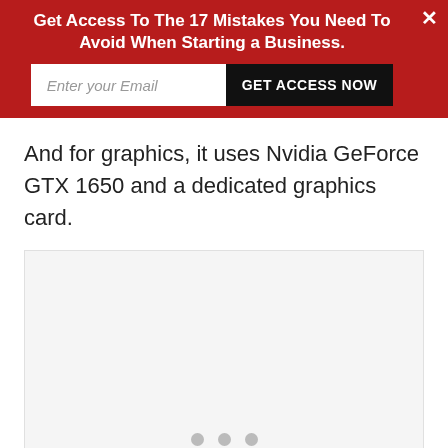Get Access To The 17 Mistakes You Need To Avoid When Starting a Business.
And for graphics, it uses Nvidia GeForce GTX 1650 and a dedicated graphics card.
[Figure (other): Image carousel placeholder with three navigation dots at the bottom, light gray background.]